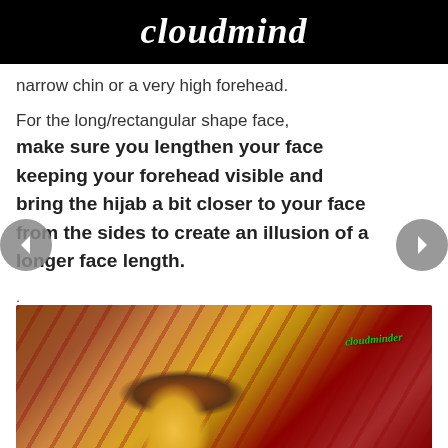cloudmind
narrow chin or a very high forehead.
For the long/rectangular shape face, make sure you lengthen your face keeping your forehead visible and bring the hijab a bit closer to your face from the sides to create an illusion of a longer face length.
.
[Figure (photo): A person wearing a brown and yellow hijab with decorative circular patterns, lying on a patterned red textile background. Green text overlay visible in upper right.]